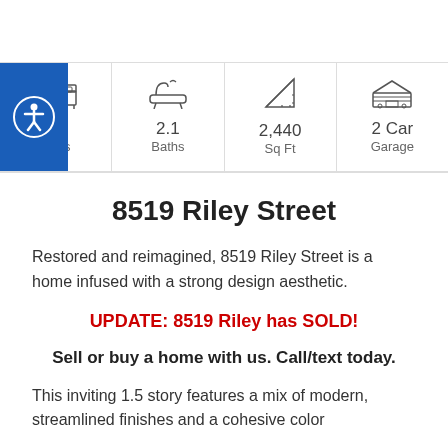[Figure (infographic): Property features row with icons: 4 Beds, 2.1 Baths, 2,440 Sq Ft, 2 Car Garage. Blue accessibility button on left.]
8519 Riley Street
Restored and reimagined, 8519 Riley Street is a home infused with a strong design aesthetic.
UPDATE: 8519 Riley has SOLD!
Sell or buy a home with us. Call/text today.
This inviting 1.5 story features a mix of modern, streamlined finishes and a cohesive color